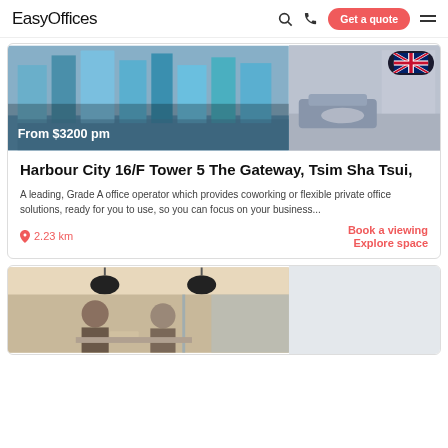EasyOffices — Get a quote
[Figure (screenshot): Office listing card with two images: left shows city waterfront with skyscrapers (price badge 'From $3200 pm'), right shows modern interior lounge. UK flag pill on right image.]
Harbour City 16/F Tower 5 The Gateway, Tsim Sha Tsui,
A leading, Grade A office operator which provides coworking or flexible private office solutions, ready for you to use, so you can focus on your business...
2.23 km
Book a viewing
Explore space
[Figure (photo): Second listing card showing two people working in a modern coworking space with booth seating, pendant lights, and glass partitions.]